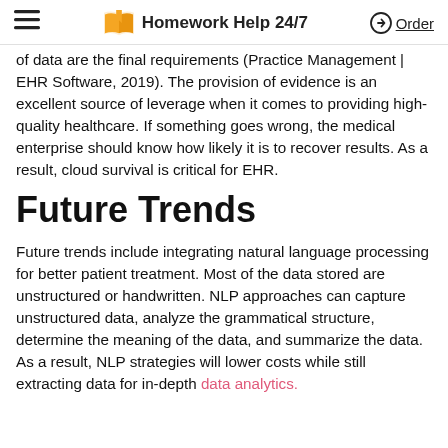≡  Homework Help 24/7  ⊕ Order
of data are the final requirements (Practice Management | EHR Software, 2019). The provision of evidence is an excellent source of leverage when it comes to providing high-quality healthcare. If something goes wrong, the medical enterprise should know how likely it is to recover results. As a result, cloud survival is critical for EHR.
Future Trends
Future trends include integrating natural language processing for better patient treatment. Most of the data stored are unstructured or handwritten. NLP approaches can capture unstructured data, analyze the grammatical structure, determine the meaning of the data, and summarize the data. As a result, NLP strategies will lower costs while still extracting data for in-depth data analytics.